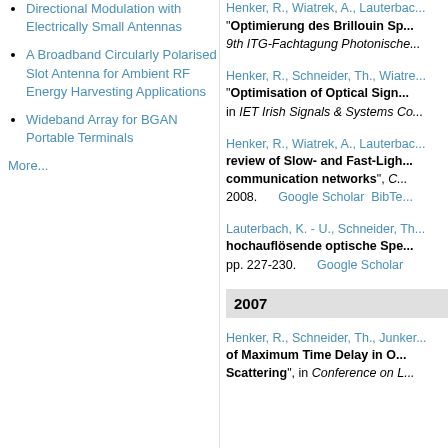Directional Modulation with Electrically Small Antennas
A Broadband Circularly Polarised Slot Antenna for Ambient RF Energy Harvesting Applications
Wideband Array for BGAN Portable Terminals
More...
Henker, R., Wiatrek, A., Lauterbac... "Optimierung des Brillouin Sp..." 9th ITG-Fachtagung Photonische...
Henker, R., Schneider, Th., Wiatre... "Optimisation of Optical Sign..." in IET Irish Signals & Systems Co...
Henker, R., Wiatrek, A., Lauterbac... review of Slow- and Fast-Ligh... communication networks", C... 2008. Google Scholar BibTe...
Lauterbach, K. - U., Schneider, Th... hochauflösende optische Spe... pp. 227-230. Google Scholar...
2007
Henker, R., Schneider, Th., Junker... of Maximum Time Delay in O... Scattering", in Conference on L...